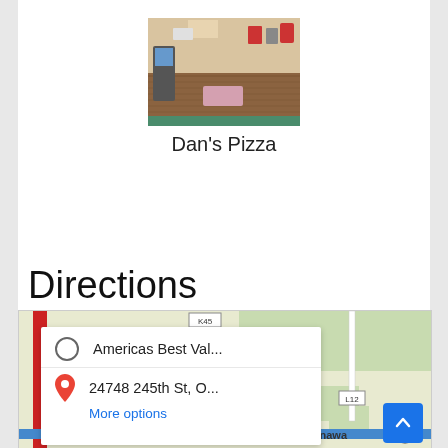[Figure (photo): Interior photo of Dan's Pizza restaurant showing wooden paneling, arcade game, and wall decorations]
Dan's Pizza
Directions
[Figure (map): Google Maps directions panel showing route from Americas Best Val... to 24748 245th St, O... with More options link, and a street map of Onawa area showing roads K45, L12, and highway 175]